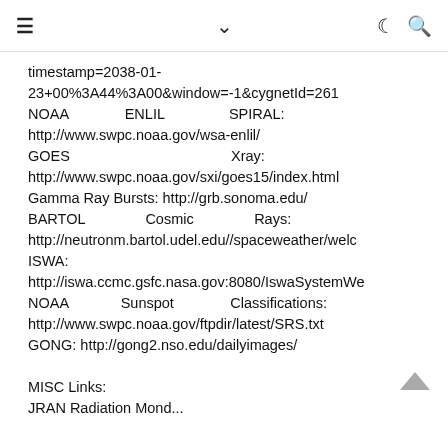≡  ∨  ☾ 🔍
timestamp=2038-01-23+00%3A44%3A00&window=-1&cygnetId=261
NOAA ENLIL SPIRAL: http://www.swpc.noaa.gov/wsa-enlil/
GOES Xray: http://www.swpc.noaa.gov/sxi/goes15/index.html
Gamma Ray Bursts: http://grb.sonoma.edu/
BARTOL Cosmic Rays: http://neutronm.bartol.udel.edu//spaceweather/welc
ISWA: http://iswa.ccmc.gsfc.nasa.gov:8080/IswaSystemWe
NOAA Sunspot Classifications: http://www.swpc.noaa.gov/ftpdir/latest/SRS.txt
GONG: http://gong2.nso.edu/dailyimages/

MISC Links:
JRAN RadiationMond...